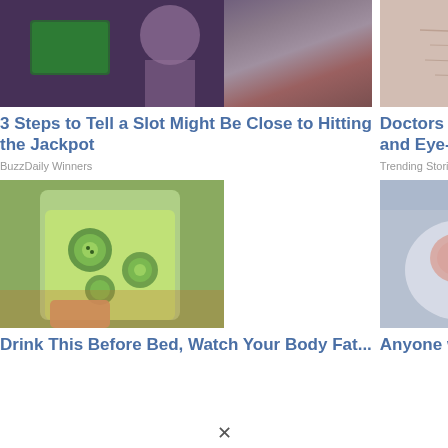[Figure (photo): Photo of a slot machine screen with person in background]
3 Steps to Tell a Slot Might Be Close to Hitting the Jackpot
BuzzDaily Winners
[Figure (photo): Close-up photo of elderly skin with wrinkles near nose and mouth]
Doctors Stunned: This Removes Wrinkles and Eye-bags Like Crazy (Try Tonight!)
Trending Stories
[Figure (photo): Person holding a jar of cucumber and green vegetable infused water drink]
Drink This Before Bed, Watch Your Body Fat...
[Figure (photo): Two fried eggs in a pan covered in frost or ice]
Anyone with Diabetes Should Watch This...